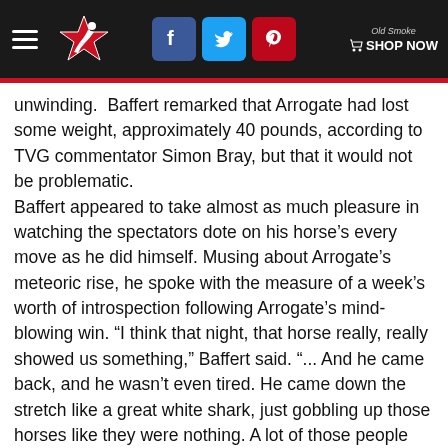Navigation header with hamburger menu, horse racing star logo, Facebook/Twitter/Pinterest social icons, and Old Smoke Shop Now link
unwinding.  Baffert remarked that Arrogate had lost some weight, approximately 40 pounds, according to TVG commentator Simon Bray, but that it would not be problematic.
Baffert appeared to take almost as much pleasure in watching the spectators dote on his horse’s every move as he did himself. Musing about Arrogate’s meteoric rise, he spoke with the measure of a week’s worth of introspection following Arrogate’s mind-blowing win. “I think that night, that horse really, really showed us something," Baffert said. "... And he came back, and he wasn’t even tired. He came down the stretch like a great white shark, just gobbling up those horses like they were nothing. A lot of those people were in awe, even the other jocks were like, ‘Wow! Look at that horse!’ Even all of the people there that night in the infield and the winner’s